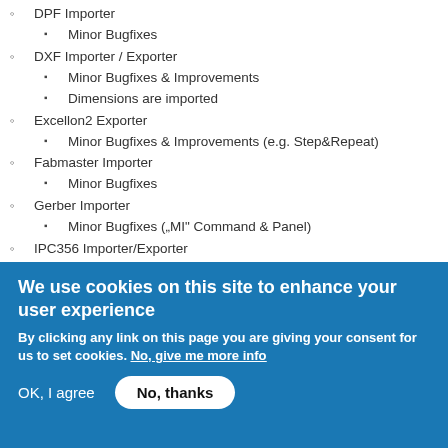DPF Importer
Minor Bugfixes
DXF Importer / Exporter
Minor Bugfixes & Improvements
Dimensions are imported
Excellon2 Exporter
Minor Bugfixes & Improvements (e.g. Step&Repeat)
Fabmaster Importer
Minor Bugfixes
Gerber Importer
Minor Bugfixes („MI“ Command & Panel)
IPC356 Importer/Exporter
Arcs are exported
Profile is exported
Panels are exported
MidNetPoint information is set
QD Exporter
We use cookies on this site to enhance your user experience
By clicking any link on this page you are giving your consent for us to set cookies. No, give me more info
OK, I agree   No, thanks